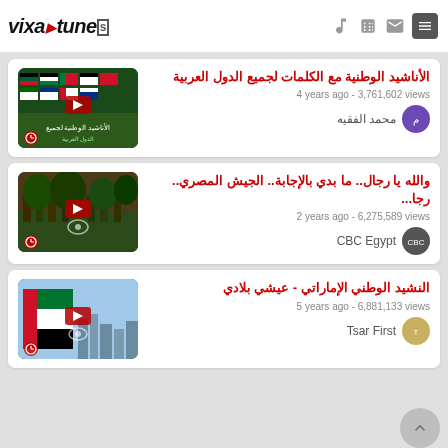vixa tunes
[Figure (screenshot): Video thumbnail showing flags of Arab countries]
الأناشيد الوطنية مع الكلمات لجميع الدول العربية
4 years ago - 3,761,602 views
محمد الفقيه
[Figure (screenshot): Video thumbnail showing soldiers in military formation]
والله يا رجال.. ما بدي بالإجابة.. الجيش المصري.. رجا...
2 years ago - 6,275,589 views
CBC Egypt
[Figure (screenshot): Video thumbnail showing UAE flag and city skyline]
النشيد الوطني الإماراتي - عيشي بلادي
5 years ago - 6,881,133 views
Tsar First